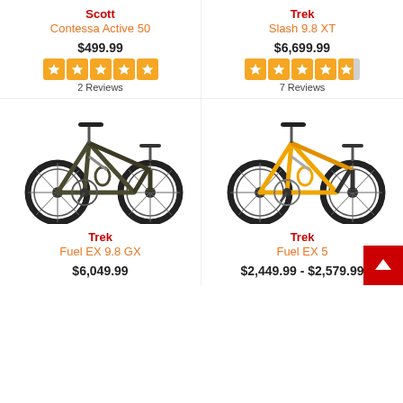Scott
Contessa Active 50
$499.99
2 Reviews
Trek
Slash 9.8 XT
$6,699.99
7 Reviews
[Figure (photo): Trek Fuel EX 9.8 GX mountain bike, dark olive/brown full suspension]
Trek
Fuel EX 9.8 GX
$6,049.99
[Figure (photo): Trek Fuel EX 5 mountain bike, yellow/black full suspension]
Trek
Fuel EX 5
$2,449.99 - $2,579.99